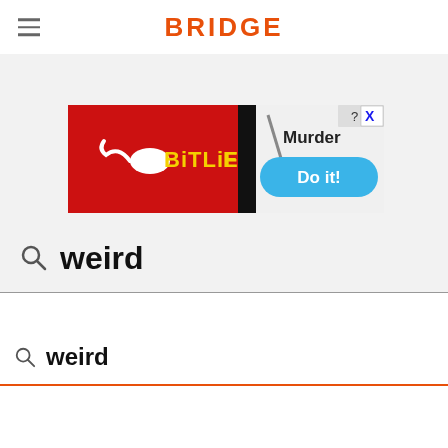BRIDGE
[Figure (screenshot): BitLife advertisement banner showing red background with BitLife logo (sperm icon, yellow BitLiFE text), a black column divider, and blue pill button with 'Murder Do it!' text. Has a close/help button in top right corner.]
weird
weird